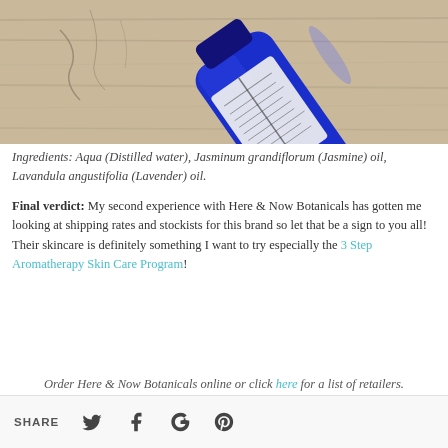[Figure (photo): A blue glass bottle of Here & Now Botanicals product lying on a weathered wooden surface, showing the product label with text.]
Ingredients: Aqua (Distilled water), Jasminum grandiflorum (Jasmine) oil, Lavandula angustifolia (Lavender) oil.
Final verdict: My second experience with Here & Now Botanicals has gotten me looking at shipping rates and stockists for this brand so let that be a sign to you all! Their skincare is definitely something I want to try especially the 3 Step Aromatherapy Skin Care Program!
Order Here & Now Botanicals online or click here for a list of retailers.
SHARE